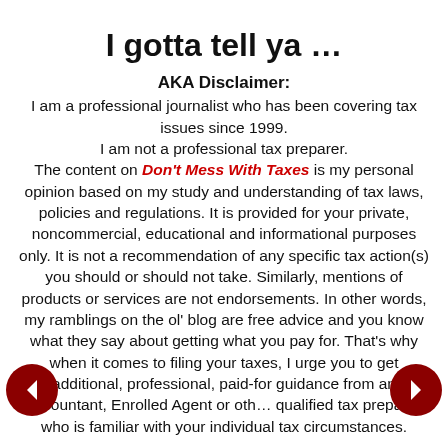I gotta tell ya …
AKA Disclaimer:
I am a professional journalist who has been covering tax issues since 1999. I am not a professional tax preparer. The content on Don't Mess With Taxes is my personal opinion based on my study and understanding of tax laws, policies and regulations. It is provided for your private, noncommercial, educational and informational purposes only. It is not a recommendation of any specific tax action(s) you should or should not take. Similarly, mentions of products or services are not endorsements. In other words, my ramblings on the ol' blog are free advice and you know what they say about getting what you pay for. That's why when it comes to filing your taxes, I urge you to get additional, professional, paid-for guidance from an accountant, Enrolled Agent or other qualified tax preparer who is familiar with your individual tax circumstances.